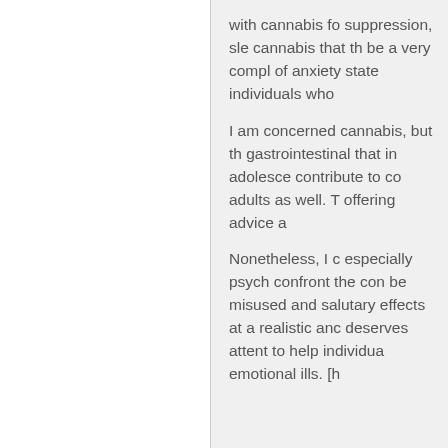with cannabis fo suppression, sle cannabis that th be a very compl of anxiety state individuals who
I am concerned cannabis, but th gastrointestinal that in adolesce contribute to co adults as well. T offering advice a
Nonetheless, I c especially psych confront the con be misused and salutary effects at a realistic anc deserves attent to help individua emotional ills. [h